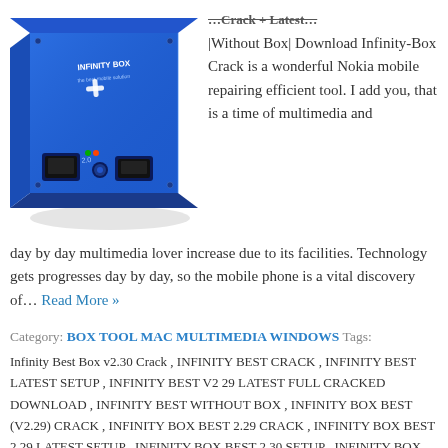[Figure (photo): Blue Infinity Box USB 2.0 device, a hardware dongle/box with ports on the front]
|Without Box| Download Infinity-Box Crack is a wonderful Nokia mobile repairing efficient tool. I add you, that is a time of multimedia and day by day multimedia lover increase due to its facilities. Technology gets progresses day by day, so the mobile phone is a vital discovery of… Read More »
Category: BOX TOOL  MAC  MULTIMEDIA  WINDOWS  Tags: Infinity Best Box v2.30 Crack , INFINITY BEST CRACK , INFINITY BEST LATEST SETUP , INFINITY BEST V2 29 LATEST FULL CRACKED DOWNLOAD , INFINITY BEST WITHOUT BOX , INFINITY BOX BEST (V2.29) CRACK , INFINITY BOX BEST 2.29 CRACK , INFINITY BOX BEST 2.29 LATEST SETUP , INFINITY BOX BEST 2.30 SETUP , INFINITY BOX BEST CRACK , INFINITY BOX